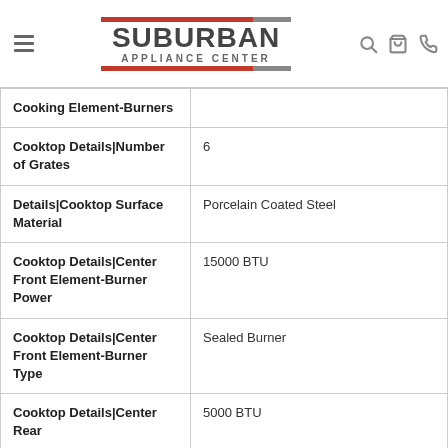Suburban Appliance Center
| Feature | Value |
| --- | --- |
| Cooking Element-Burners |  |
| Cooktop Details|Number of Grates | 6 |
| Details|Cooktop Surface Material | Porcelain Coated Steel |
| Cooktop Details|Center Front Element-Burner Power | 15000 BTU |
| Cooktop Details|Center Front Element-Burner Type | Sealed Burner |
| Cooktop Details|Center Rear | 5000 BTU |